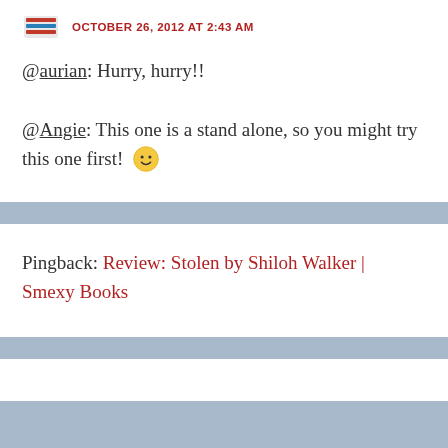OCTOBER 26, 2012 AT 2:43 AM
@aurian: Hurry, hurry!!
@Angie: This one is a stand alone, so you might try this one first! 🙂
Pingback: Review: Stolen by Shiloh Walker | Smexy Books